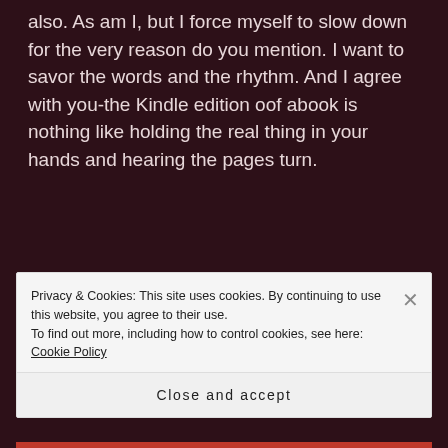also. As am I, but I force myself to slow down for the very reason do you mention. I want to savor the words and the rhythm. And I agree with you-the Kindle edition oof abook is nothing like holding the real thing in your hands and hearing the pages turn.
MARK LANESBURY says:
Privacy & Cookies: This site uses cookies. By continuing to use this website, you agree to their use.
To find out more, including how to control cookies, see here: Cookie Policy
Close and accept